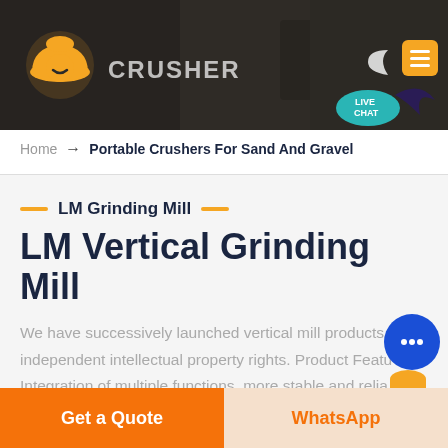[Figure (screenshot): Website header banner with dark rock/machinery background, company logo (orange helmet icon) on left, moon icon and orange menu button on right, and a 'LIVE CHAT' speech bubble overlay at bottom right of header]
Home → Portable Crushers For Sand And Gravel
LM Grinding Mill
LM Vertical Grinding Mill
We have successively launched vertical mill products with independent intellectual property rights. Product Features: Integration of multiple functions, more stable and reliable production and more excellent capacity
Get a Quote
WhatsApp